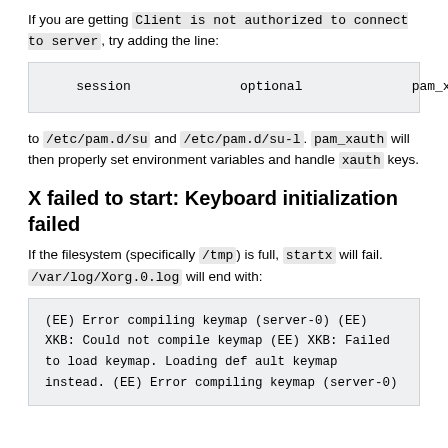If you are getting Client is not authorized to connect to server, try adding the line:
| session | optional | pam_xauth.so |
to /etc/pam.d/su and /etc/pam.d/su-l. pam_xauth will then properly set environment variables and handle xauth keys.
X failed to start: Keyboard initialization failed
If the filesystem (specifically /tmp) is full, startx will fail. /var/log/Xorg.0.log will end with:
| (EE) Error compiling keymap (server-0) |
| (EE) XKB: Could not compile keymap |
| (EE) XKB: Failed to load keymap. Loading default keymap instead. |
| (EE) Error compiling keymap (server-0) |